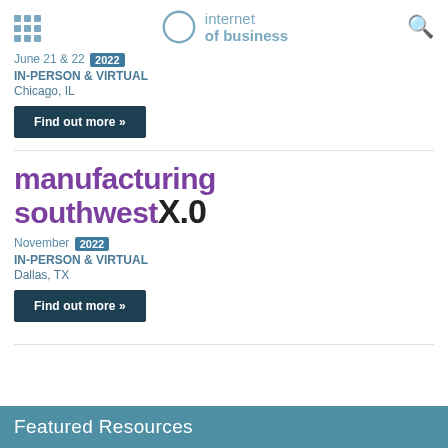internet of business
June 21 & 22 2022
IN-PERSON & VIRTUAL
Chicago, IL
Find out more »
[Figure (logo): manufacturing southwest X.0 logo in purple and black text]
November 2022
IN-PERSON & VIRTUAL
Dallas, TX
Find out more »
Featured Resources